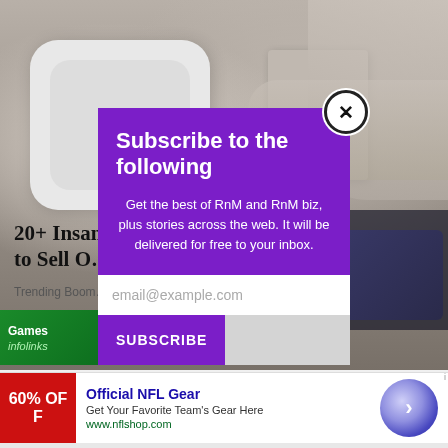[Figure (photo): Background photo of hands holding a white device/card, partially obscured by a purple subscription modal overlay]
20+ Insane... Going to Sell O...
Trending Boom...
[Figure (screenshot): Infolinks Games advertisement banner, green background with game controller icon]
[Figure (screenshot): Subscribe modal popup with purple background. Title: Subscribe to the following. Body: Get the best of RnM and RnM biz, plus stories across the web. It will be delivered for free to your inbox. Email input field with placeholder email@example.com. SUBSCRIBE button. Close X button.]
Subscribe to the following
Get the best of RnM and RnM biz, plus stories across the web. It will be delivered for free to your inbox.
[Figure (screenshot): Advertisement banner: Official NFL Gear - Get Your Favorite Team's Gear Here - www.nflshop.com - 60% OFF red box - arrow circle button]